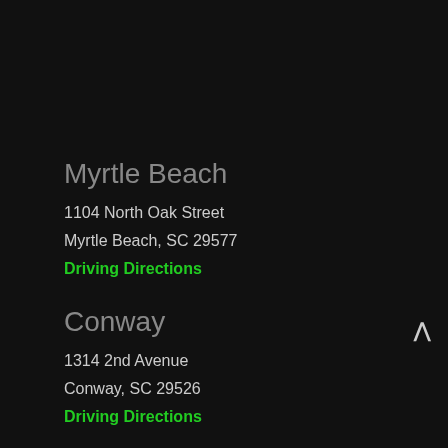Myrtle Beach
1104 North Oak Street
Myrtle Beach, SC 29577
Driving Directions
Conway
1314 2nd Avenue
Conway, SC 29526
Driving Directions